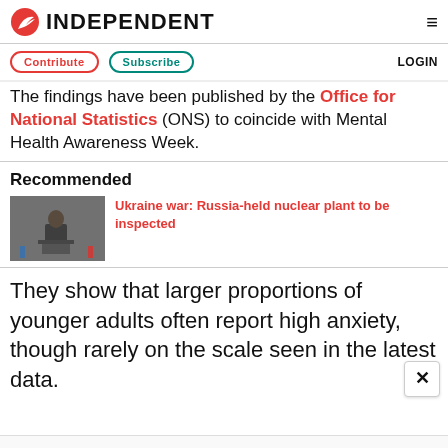INDEPENDENT
Contribute  Subscribe  LOGIN
The findings have been published by the Office for National Statistics (ONS) to coincide with Mental Health Awareness Week.
Recommended
[Figure (photo): Photo of a man in dark clothing speaking at a podium with flags in the background]
Ukraine war: Russia-held nuclear plant to be inspected
They show that larger proportions of younger adults often report high anxiety, though rarely on the scale seen in the latest data.